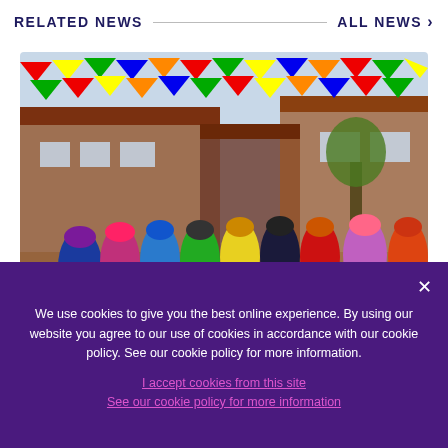RELATED NEWS | ALL NEWS >
[Figure (photo): A peloton of cyclists racing through a village street decorated with colourful bunting flags, with brick buildings in the background on a sunny day.]
GALLERY  NEWS  |  14 Jun
We use cookies to give you the best online experience. By using our website you agree to our use of cookies in accordance with our cookie policy. See our cookie policy for more information.
I accept cookies from this site
See our cookie policy for more information